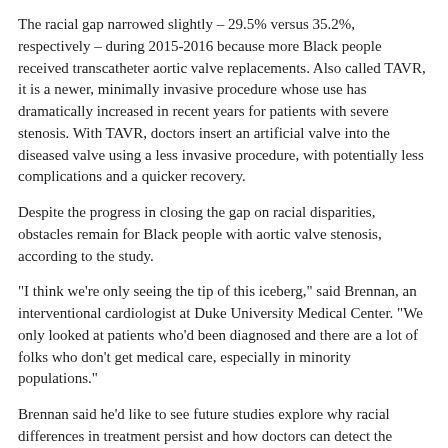The racial gap narrowed slightly – 29.5% versus 35.2%, respectively – during 2015-2016 because more Black people received transcatheter aortic valve replacements. Also called TAVR, it is a newer, minimally invasive procedure whose use has dramatically increased in recent years for patients with severe stenosis. With TAVR, doctors insert an artificial valve into the diseased valve using a less invasive procedure, with potentially less complications and a quicker recovery.
Despite the progress in closing the gap on racial disparities, obstacles remain for Black people with aortic valve stenosis, according to the study.
"I think we're only seeing the tip of this iceberg," said Brennan, an interventional cardiologist at Duke University Medical Center. "We only looked at patients who'd been diagnosed and there are a lot of folks who don't get medical care, especially in minority populations."
Brennan said he'd like to see future studies explore why racial differences in treatment persist and how doctors can detect the disease quicker.
"People need to understand this is a deadly disease, treatment is critical, and if people are treated, they really do well," he said.
Dr. Mohamad Adnan Alkhouli, who was not involved in the research, said past studies had found racial differences in aortic valve replacement rates but didn't look specifically at people with confirmed cases of severe stenosis.
"This study is very important because for the first time it documents a clear racial disparity among those who are already diagnosed. It gets to the bottom of the